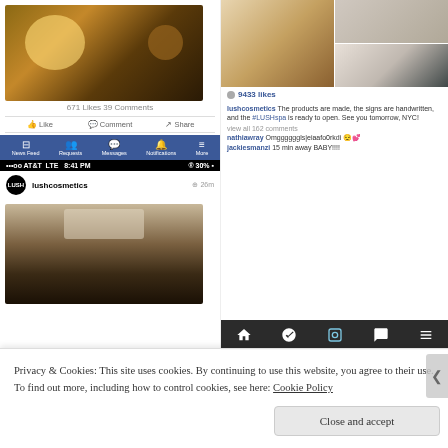[Figure (screenshot): Facebook mobile app screenshot showing a food/drink photo with 671 likes and 39 comments, with Like, Comment, Share buttons and Facebook navigation bar]
[Figure (screenshot): Instagram mobile app navigation bar with home, explore, camera, activity, and profile icons]
•••oo AT&T LTE   8:41 PM   ® 30%
[Figure (screenshot): Instagram post by lushcosmetics profile, 26m ago]
[Figure (photo): Instagram photo showing a crowded store interior with industrial lighting and blackboard signs]
9433 likes
lushcosmetics The products are made, the signs are handwritten, and the #LUSHspa is ready to open. See you tomorrow, NYC!
view all 162 comments
nathiawray Omggggggls|eiaafo0rkdi 😌💕
jackiesmanzi 15 min away BABY!!!!
Privacy & Cookies: This site uses cookies. By continuing to use this website, you agree to their use. To find out more, including how to control cookies, see here: Cookie Policy
Close and accept